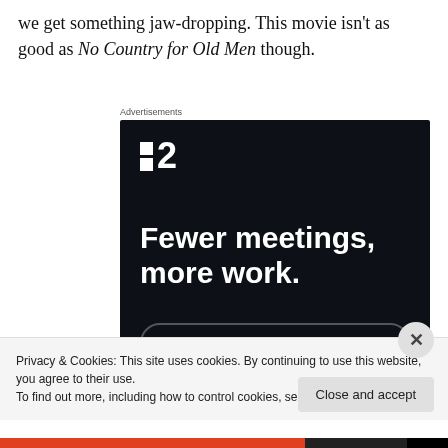we get something jaw-dropping. This movie isn't as good as No Country for Old Men though.
[Figure (screenshot): Advertisement banner for a project management tool (Fewer meetings, more work.) with dark background and Get started for free button]
Privacy & Cookies: This site uses cookies. By continuing to use this website, you agree to their use.
To find out more, including how to control cookies, see here: Cookie Policy